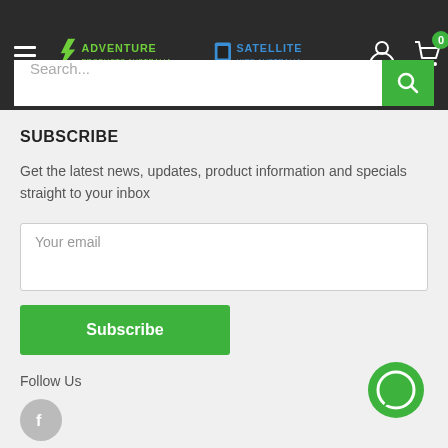[Figure (screenshot): Website header with hamburger menu, Adventure Products Australia logo, Satellite Hire Australia logo, user account icon, and shopping cart with badge showing 0]
[Figure (screenshot): Search input field with green search button]
SUBSCRIBE
Get the latest news, updates, product information and specials straight to your inbox
[Figure (screenshot): Email input field with placeholder text 'Your email']
[Figure (screenshot): Green Subscribe button]
Follow Us
[Figure (screenshot): Facebook icon (grey circle with f logo)]
[Figure (screenshot): Green chat bubble icon in bottom right corner]